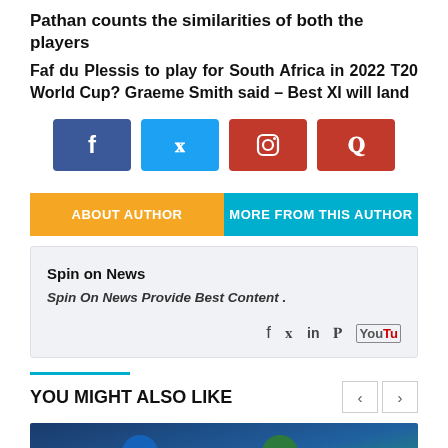Pathan counts the similarities of both the players
Faf du Plessis to play for South Africa in 2022 T20 World Cup? Graeme Smith said – Best XI will land
[Figure (infographic): Social media share buttons: Facebook (blue), Twitter (light blue), Instagram (dark red), Pinterest (red)]
ABOUT AUTHOR | MORE FROM THIS AUTHOR
Spin on News
Spin On News Provide Best Content .
[Figure (infographic): Social icons: facebook, twitter, linkedin, pinterest, youtube]
YOU MIGHT ALSO LIKE
[Figure (photo): Two cricket players, one in blue India jersey and one in green Pakistan jersey, with TCL logo visible]